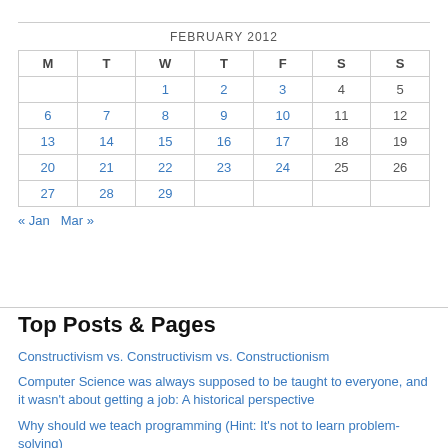| M | T | W | T | F | S | S |
| --- | --- | --- | --- | --- | --- | --- |
|  |  | 1 | 2 | 3 | 4 | 5 |
| 6 | 7 | 8 | 9 | 10 | 11 | 12 |
| 13 | 14 | 15 | 16 | 17 | 18 | 19 |
| 20 | 21 | 22 | 23 | 24 | 25 | 26 |
| 27 | 28 | 29 |  |  |  |  |
« Jan   Mar »
Top Posts & Pages
Constructivism vs. Constructivism vs. Constructionism
Computer Science was always supposed to be taught to everyone, and it wasn't about getting a job: A historical perspective
Why should we teach programming (Hint: It's not to learn problem-solving)